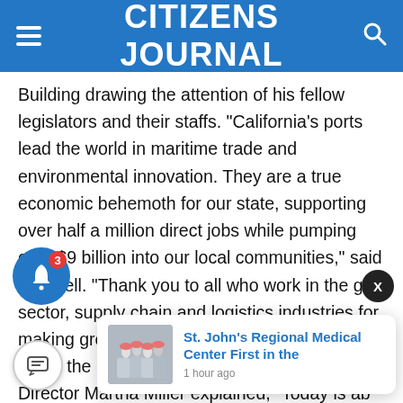CITIZENS JOURNAL
Building drawing the attention of his fellow legislators and their staffs. “California’s ports lead the world in maritime trade and environmental innovation. They are a true economic behemoth for our state, supporting over half a million direct jobs while pumping over $9 billion into our local communities,” said O’onnell. “Thank you to all who work in the ght sector, supply chain and logistics industries for making green while going green.” When asked about the purpose of the day, new CAPA State Director Martha Miller explained, “Today is ab economic a bring to our and our fellow Californians thinking about where their food, clothing, automobiles, smartphones